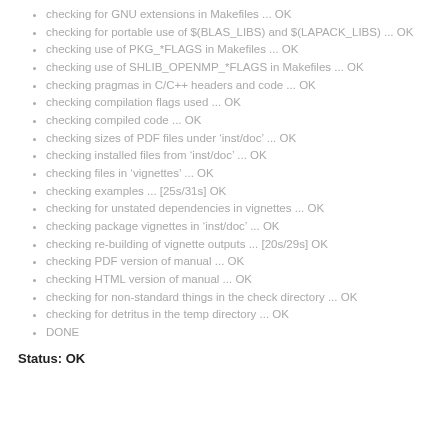checking for GNU extensions in Makefiles ... OK
checking for portable use of $(BLAS_LIBS) and $(LAPACK_LIBS) ... OK
checking use of PKG_*FLAGS in Makefiles ... OK
checking use of SHLIB_OPENMP_*FLAGS in Makefiles ... OK
checking pragmas in C/C++ headers and code ... OK
checking compilation flags used ... OK
checking compiled code ... OK
checking sizes of PDF files under ‘inst/doc’ ... OK
checking installed files from ‘inst/doc’ ... OK
checking files in ‘vignettes’ ... OK
checking examples ... [25s/31s] OK
checking for unstated dependencies in vignettes ... OK
checking package vignettes in ‘inst/doc’ ... OK
checking re-building of vignette outputs ... [20s/29s] OK
checking PDF version of manual ... OK
checking HTML version of manual ... OK
checking for non-standard things in the check directory ... OK
checking for detritus in the temp directory ... OK
DONE
Status: OK